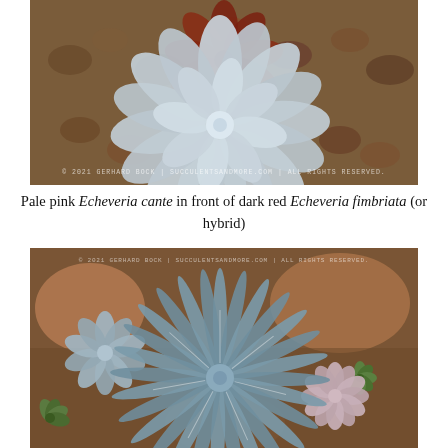[Figure (photo): Photo of a large pale blue-grey/pink Echeveria cante rosette in front, set against dark reddish-brown rocky gravel background with darker red Echeveria fimbriata behind. Watermark: © 2021 GERHARD BOCK | SUCCULENTSANDMORE.COM | ALL RIGHTS RESERVED.]
Pale pink Echeveria cante in front of dark red Echeveria fimbriata (or hybrid)
[Figure (photo): Photo of a large blue-grey agave-like succulent rosette (Agave or Dudleya) in the center, surrounded by smaller grey-blue Echeveria rosettes on the left and pink-lavender Echeveria on the right, all set among large reddish-brown rocks and soil. Watermark: © 2021 GERHARD BOCK | SUCCULENTSANDMORE.COM | ALL RIGHTS RESERVED.]